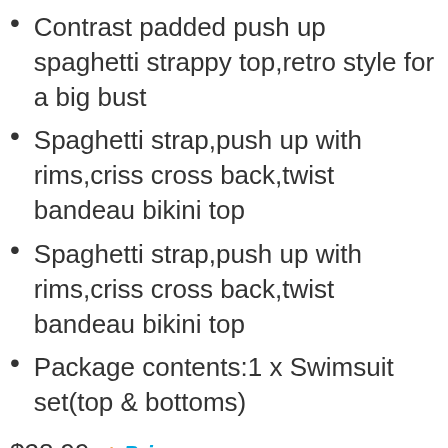Contrast padded push up spaghetti strappy top,retro style for a big bust
Spaghetti strap,push up with rims,criss cross back,twist bandeau bikini top
Spaghetti strap,push up with rims,criss cross back,twist bandeau bikini top
Package contents:1 x Swimsuit set(top & bottoms)
$28.99 ✓Prime
Buy on Amazon